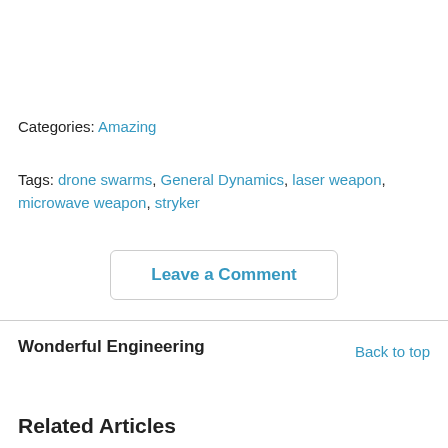Categories: Amazing
Tags: drone swarms, General Dynamics, laser weapon, microwave weapon, stryker
Leave a Comment
Wonderful Engineering
Back to top
Related Articles